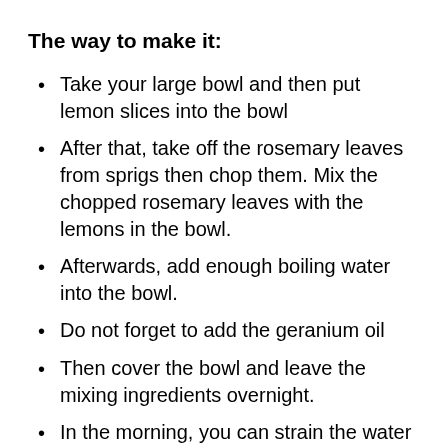The way to make it:
Take your large bowl and then put lemon slices into the bowl
After that, take off the rosemary leaves from sprigs then chop them. Mix the chopped rosemary leaves with the lemons in the bowl.
Afterwards, add enough boiling water into the bowl.
Do not forget to add the geranium oil
Then cover the bowl and leave the mixing ingredients overnight.
In the morning, you can strain the water then fill it into the sprayer that you have prepared. And finally your homemade flea spray is ready to use